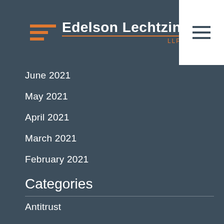Edelson Lechtzin LLP
June 2021
May 2021
April 2021
March 2021
February 2021
Categories
Antitrust
Class Actions
Consumer Protection
ERISA Cases